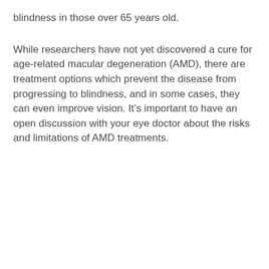blindness in those over 65 years old.
While researchers have not yet discovered a cure for age-related macular degeneration (AMD), there are treatment options which prevent the disease from progressing to blindness, and in some cases, they can even improve vision. It’s important to have an open discussion with your eye doctor about the risks and limitations of AMD treatments.